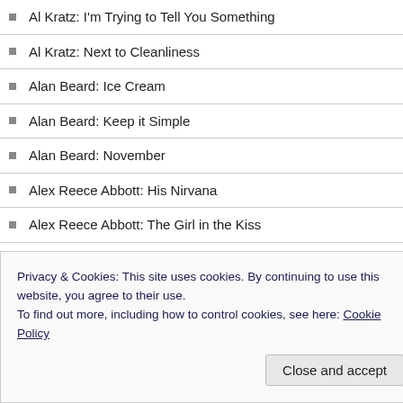Al Kratz: I'm Trying to Tell You Something
Al Kratz: Next to Cleanliness
Alan Beard: Ice Cream
Alan Beard: Keep it Simple
Alan Beard: November
Alex Reece Abbott: His Nirvana
Alex Reece Abbott: The Girl in the Kiss
Alexa Hailey: Summer Storm
Alexis Wolfe: Cold Cream
Alicia Bakewell: Koko
Alison Ogilvie-Holme: Grind
Privacy & Cookies: This site uses cookies. By continuing to use this website, you agree to their use. To find out more, including how to control cookies, see here: Cookie Policy
Close and accept